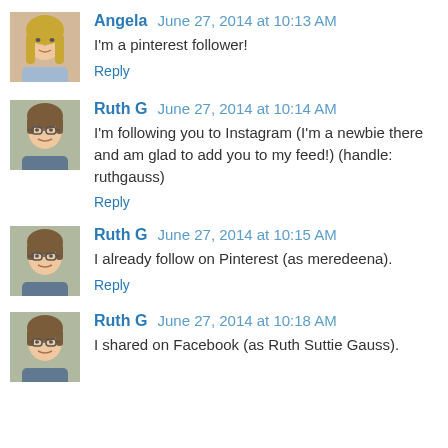[Figure (photo): Avatar photo of Angela - woman with long blonde hair]
Angela June 27, 2014 at 10:13 AM
I'm a pinterest follower!
Reply
[Figure (photo): Avatar photo of Ruth G - woman with glasses and short hair]
Ruth G June 27, 2014 at 10:14 AM
I'm following you to Instagram (I'm a newbie there and am glad to add you to my feed!) (handle: ruthgauss)
Reply
[Figure (photo): Avatar photo of Ruth G - woman with glasses and short hair]
Ruth G June 27, 2014 at 10:15 AM
I already follow on Pinterest (as meredeena).
Reply
[Figure (photo): Avatar photo of Ruth G - woman with glasses and short hair]
Ruth G June 27, 2014 at 10:18 AM
I shared on Facebook (as Ruth Suttie Gauss).